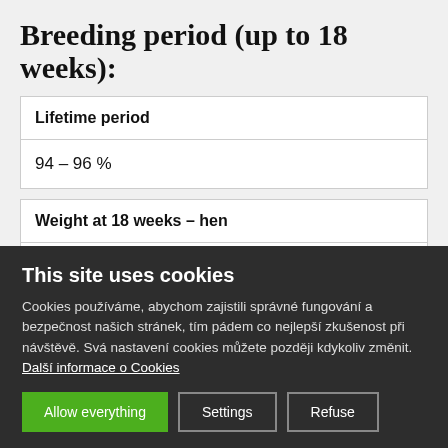Breeding period (up to 18 weeks):
| Lifetime period |
| --- |
| 94 – 96 % |
| Weight at 18 weeks – hen |
| --- |
| 1,5 kg ♀ |
This site uses cookies
Cookies používáme, abychom zajistili správné fungování a bezpečnost našich stránek, tím pádem co nejlepší zkušenost při návštěvě. Svá nastavení cookies můžete později kdykoliv změnit. Další informace o Cookies
Allow everything | Settings | Refuse